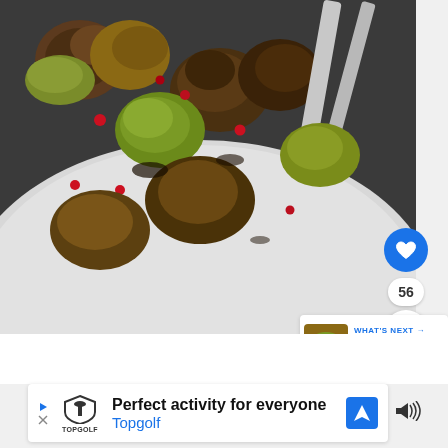[Figure (photo): Overhead close-up photo of roasted Brussels sprouts with pomegranate seeds on a white ceramic plate, with silver utensils (tongs/knife) visible in the upper right corner, on a dark background. Blue circular heart/like button overlay (heart icon), a count badge showing '56', and a white circular share button with a share icon are visible on the right side of the image.]
[Figure (screenshot): 'What's Next' panel with a thumbnail of a vegetable dish, showing text 'WHAT'S NEXT →' in blue and '25+ Fantastic Vegetable...' in bold black]
[Figure (screenshot): Advertisement banner for Topgolf with Topgolf logo/shield icon, text 'Perfect activity for everyone' in bold and 'Topgolf' in blue, and a blue navigation/map icon on the right. Small play button and close icon on the left side.]